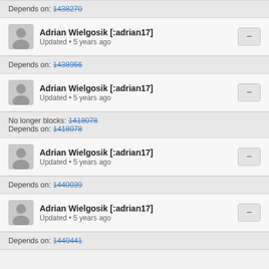Depends on: 1438270
Adrian Wielgosik [:adrian17] Updated • 5 years ago
Depends on: 1438956
Adrian Wielgosik [:adrian17] Updated • 5 years ago
No longer blocks: 1418078
Depends on: 1418078
Adrian Wielgosik [:adrian17] Updated • 5 years ago
Depends on: 1440039
Adrian Wielgosik [:adrian17] Updated • 5 years ago
Depends on: 1440441